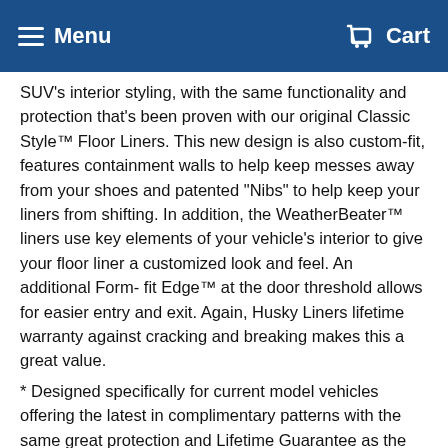Menu  Cart
SUV's interior styling, with the same functionality and protection that's been proven with our original Classic Style™ Floor Liners. This new design is also custom-fit, features containment walls to help keep messes away from your shoes and patented "Nibs" to help keep your liners from shifting. In addition, the WeatherBeater™ liners use key elements of your vehicle's interior to give your floor liner a customized look and feel. An additional Form- fit Edge™ at the door threshold allows for easier entry and exit. Again, Husky Liners lifetime warranty against cracking and breaking makes this a great value.
* Designed specifically for current model vehicles offering the latest in complimentary patterns with the same great protection and Lifetime Guarantee as the original floor liners.
* Patented Form-Fit Edge™ gives your floor liner a finished look while keeping damaging spills off your doorsill and carpet
* Functional and fashionable raised arching ribs designed to